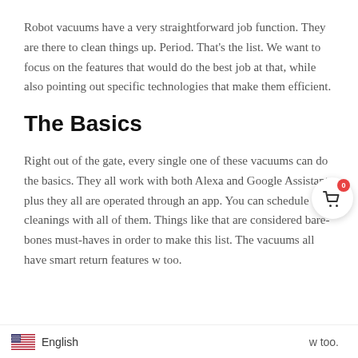Robot vacuums have a very straightforward job function. They are there to clean things up. Period. That's the list. We want to focus on the features that would do the best job at that, while also pointing out specific technologies that make them efficient.
The Basics
Right out of the gate, every single one of these vacuums can do the basics. They all work with both Alexa and Google Assistant, plus they all are operated through an app. You can schedule cleanings with all of them. Things like that are considered bare-bones must-haves in order to make this list. The vacuums all have smart return features w too.
[Figure (other): Shopping cart widget icon with red badge showing '0', circular white button with shadow]
English   w too.